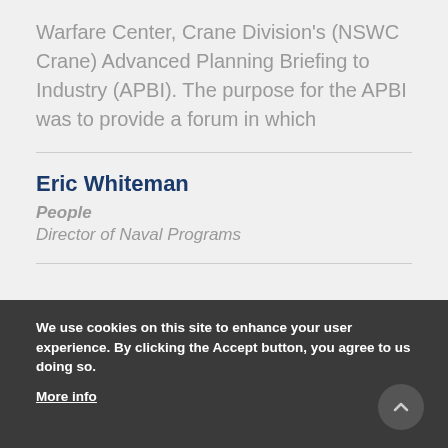Warfare Center, Crane Division's (NSWC Crane) Advanced Planning Briefing to Industry (APBI). The purpose for the APBI was to provide a forum in which
Eric Whiteman
People
Director of Naval Programs
SURVICE-Malloy Team Awarded U.S. Navy
We use cookies on this site to enhance your user experience. By clicking the Accept button, you agree to us doing so.
More info
News